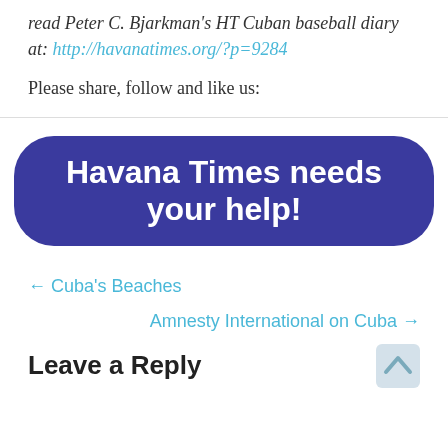read Peter C. Bjarkman's HT Cuban baseball diary at: http://havanatimes.org/?p=9284
Please share, follow and like us:
[Figure (other): Blue rounded rectangle banner button with white bold text: Havana Times needs your help!]
← Cuba's Beaches
Amnesty International on Cuba →
Leave a Reply